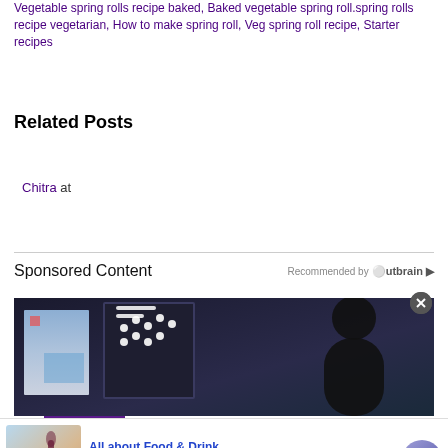Vegetable spring rolls recipe baked, Baked vegetable spring roll.spring rolls recipe vegetarian, How to make spring roll, Veg spring roll recipe, Starter recipes
Related Posts
Chitra at
Share
Sponsored Content
Recommended by Outbrain
[Figure (photo): Dark room with computer monitors/screens showing data visualization with white dots on dark background, and a person silhouette]
All about Food & Drink
visit lighterthanairballoonadventures.com... to learn more
www.lighterthanairballoonadventures...